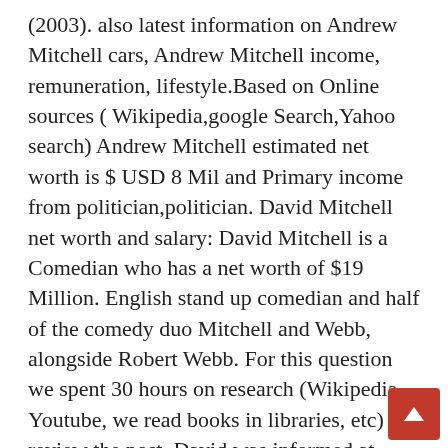(2003). also latest information on Andrew Mitchell cars, Andrew Mitchell income, remuneration, lifestyle.Based on Online sources ( Wikipedia,google Search,Yahoo search) Andrew Mitchell estimated net worth is $ USD 8 Mil and Primary income from politician,politician. David Mitchell net worth and salary: David Mitchell is a Comedian who has a net worth of $19 Million. English stand up comedian and half of the comedy duo Mitchell and Webb, alongside Robert Webb. For this question we spent 30 hours on research (Wikipedia, Youtube, we read books in libraries, etc) to review the post. David was informed at Abingdon College in Oxfordshire. The information is not available. David Mitchell was created on 14th July 1974 in Salisbury, Britain. Whilst he was their studio at Cambridge University or college he became a